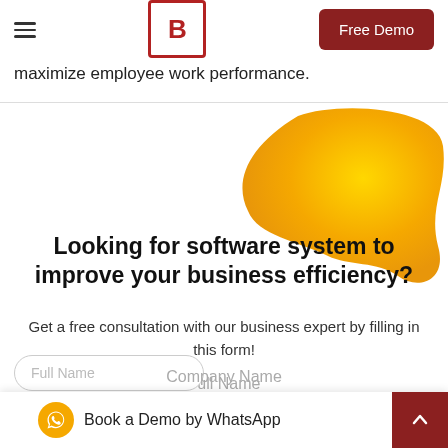B — Free Demo
maximize employee work performance.
[Figure (illustration): Gold/yellow abstract blob shape in upper right corner]
Looking for software system to improve your business efficiency?
Get a free consultation with our business expert by filling in this form!
Full Name
Full Name (input field)
Book a Demo by WhatsApp
Company Name